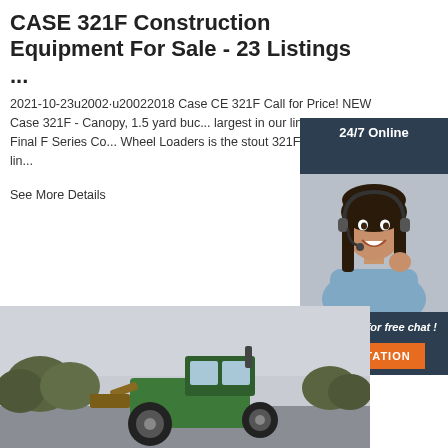CASE 321F Construction Equipment For Sale - 23 Listings ...
2021-10-23u2002·u20022018 Case CE 321F Call for Price! NEW Case 321F - Canopy, 1.5 yard bucket largest in our lineup of Tier 4 Final F Series Co... Wheel Loaders is the stout 321F with Z-Bar lin...
See More Details
[Figure (other): Orange 'Get Price' button]
[Figure (other): Chat widget with '24/7 Online' label, woman with headset photo, 'Click here for free chat!' text, and orange 'QUOTATION' button]
[Figure (photo): Photo of a green tractor/wheel loader outdoors on an overcast day with trees in background]